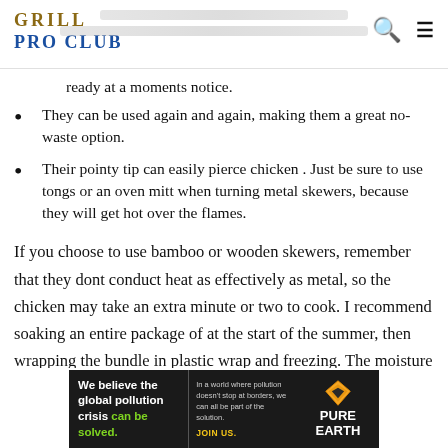GRILL PRO CLUB
ready at a moments notice.
They can be used again and again, making them a great no-waste option.
Their pointy tip can easily pierce chicken . Just be sure to use tongs or an oven mitt when turning metal skewers, because they will get hot over the flames.
If you choose to use bamboo or wooden skewers, remember that they dont conduct heat as effectively as metal, so the chicken may take an extra minute or two to cook. I recommend soaking an entire package of at the start of the summer, then wrapping the bundle in plastic wrap and freezing. The moisture stays in the skewers and you can use them straight from the
[Figure (infographic): Pure Earth advertisement banner: 'We believe the global pollution crisis can be solved.' with JOIN US call to action and Pure Earth logo with diamond icon.]